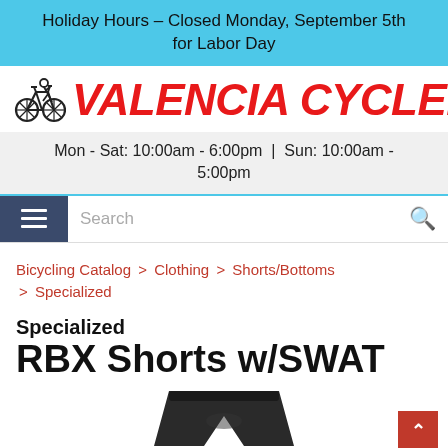Holiday Hours – Closed Monday, September 5th for Labor Day
[Figure (logo): Valencia Cyclery logo with cyclist icon and red bold italic text]
Mon - Sat: 10:00am - 6:00pm | Sun: 10:00am - 5:00pm
Search
Bicycling Catalog > Clothing > Shorts/Bottoms > Specialized
Specialized RBX Shorts w/SWAT
[Figure (photo): Black cycling shorts product photo]